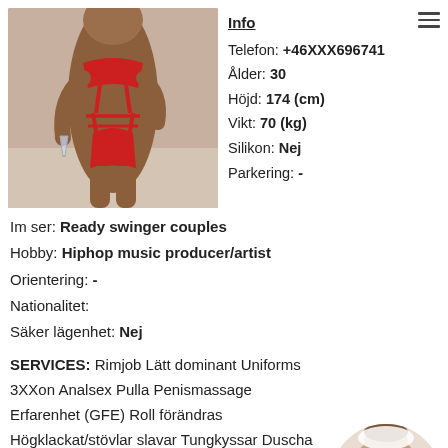[Figure (photo): Woman in red lingerie holding a glass, full body shot]
Info
Telefon: +46XXX696741
Ålder: 30
Höjd: 174 (cm)
Vikt: 70 (kg)
Silikon: Nej
Parkering: -
Im ser: Ready swinger couples
Hobby: Hiphop music producer/artist
Orientering: -
Nationalitet:
Säker lägenhet: Nej
SERVICES: Rimjob Lätt dominant Uniforms 3XXon Analsex Pulla Penismassage Erfarenhet (GFE) Roll förändras Högklackat/stövlar slavar Tungkyssar Duscha tillsammans på kroppen) Onani Sexiga underkläder Gl massage
[Figure (photo): Small circular thumbnail of woman in white top]